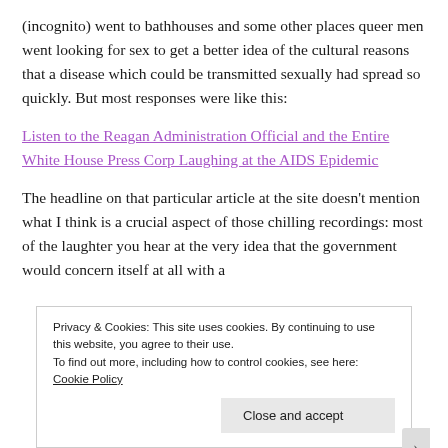(incognito) went to bathhouses and some other places queer men went looking for sex to get a better idea of the cultural reasons that a disease which could be transmitted sexually had spread so quickly. But most responses were like this:
Listen to the Reagan Administration Official and the Entire White House Press Corp Laughing at the AIDS Epidemic
The headline on that particular article at the site doesn't mention what I think is a crucial aspect of those chilling recordings: most of the laughter you hear at the very idea that the government would concern itself at all with a
Privacy & Cookies: This site uses cookies. By continuing to use this website, you agree to their use.
To find out more, including how to control cookies, see here: Cookie Policy
Close and accept